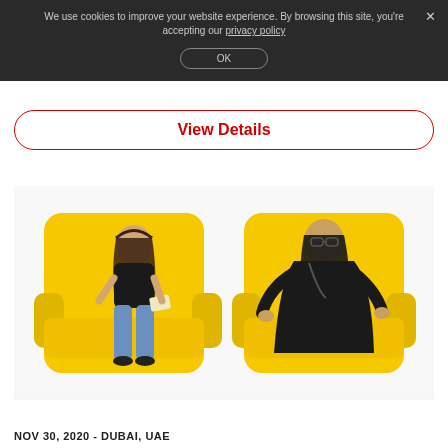We use cookies to improve your website experience. By browsing this site, you're accepting our privacy policy
OK
View Details
[Figure (photo): Two people sitting in yellow armchairs facing each other. On the left, a young girl in a black top and jeans holding a book. On the right, an adult woman in a black abaya wearing glasses.]
NOV 30, 2020 - DUBAI, UAE